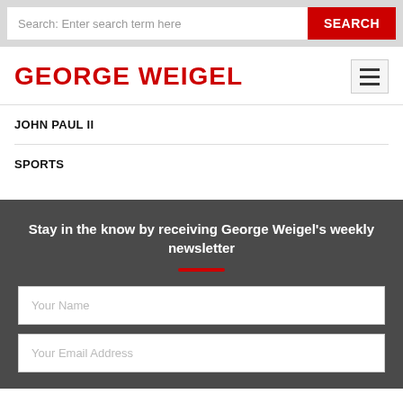Search: Enter search term here | SEARCH
GEORGE WEIGEL
JOHN PAUL II
SPORTS
Stay in the know by receiving George Weigel's weekly newsletter
Your Name
Your Email Address